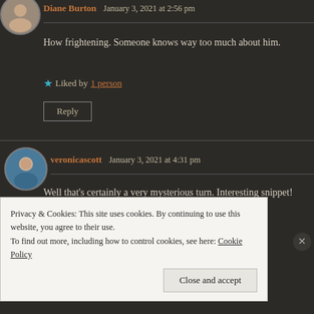Diane Burton   January 3, 2021 at 2:56 pm
How frightening. Someone knows way too much about him.
★ Liked by 1 person
Reply
veronicascott   January 3, 2021 at 4:31 pm
Well that's certainly a very mysterious turn. Interesting snippet!
Privacy & Cookies: This site uses cookies. By continuing to use this website, you agree to their use. To find out more, including how to control cookies, see here: Cookie Policy
Close and accept